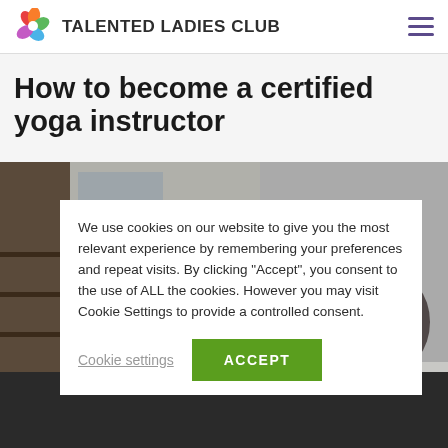TALENTED LADIES CLUB
How to become a certified yoga instructor
[Figure (photo): Person practicing yoga indoors near a window with a teal yoga mat visible at the bottom]
We use cookies on our website to give you the most relevant experience by remembering your preferences and repeat visits. By clicking “Accept”, you consent to the use of ALL the cookies. However you may visit Cookie Settings to provide a controlled consent.
Cookie settings
ACCEPT